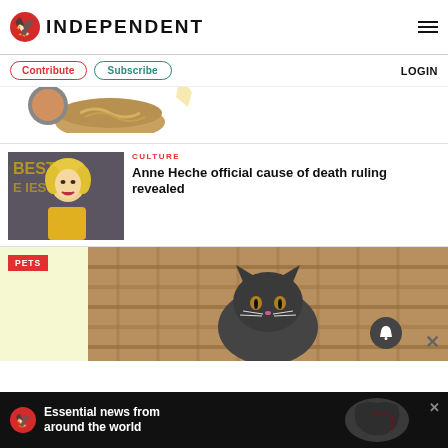INDEPENDENT
Contribute  Subscribe  LOGIN
[Figure (photo): Food items: noodles/ramen bowl and other food items, partially cropped]
CULTURE
Anne Heche official cause of death ruling revealed
[Figure (photo): Anne Heche photo — blonde woman in yellow dress at event with 'BEST ___IES' backdrop]
PETS
[Figure (photo): Dark cat peeking out of a wicker basket]
Essential news from around the world